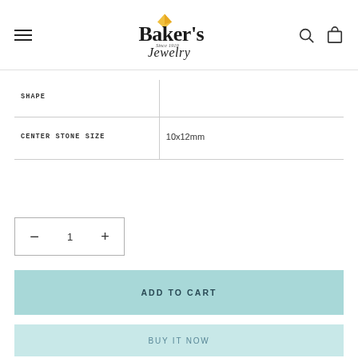Baker's Jewelry
| Attribute | Value |
| --- | --- |
| SHAPE |  |
| CENTER STONE SIZE | 10x12mm |
− 1 +
ADD TO CART
BUY IT NOW